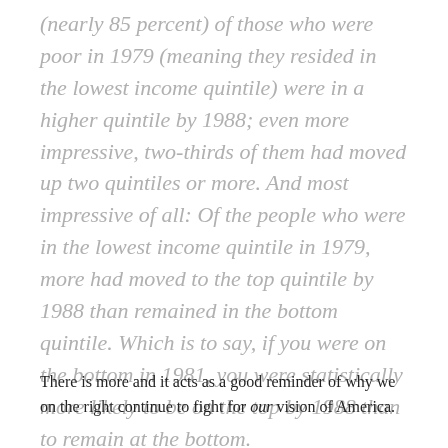(nearly 85 percent) of those who were poor in 1979 (meaning they resided in the lowest income quintile) were in a higher quintile by 1988; even more impressive, two-thirds of them had moved up two quintiles or more. And most impressive of all: Of the people who were in the lowest income quintile in 1979, more had moved to the top quintile by 1988 than remained in the bottom quintile. Which is to say, if you were on the bottom in 1981, you were statistically more likely to be on the top by 1988 than to remain at the bottom.
There is more and it acts as a good reminder of why we on the right continue to fight for our vision of America.